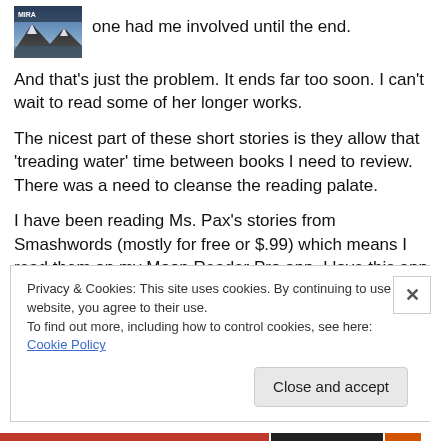[Figure (photo): Book cover image showing mountains and sky]
one had me involved until the end.
And that's just the problem. It ends far too soon. I can't wait to read some of her longer works.
The nicest part of these short stories is they allow that 'treading water' time between books I need to review. There was a need to cleanse the reading palate.
I have been reading Ms. Pax's stories from Smashwords (mostly for free or $.99) which means I read them on my Moon Reader Pro app. I love this app because I can use
Privacy & Cookies: This site uses cookies. By continuing to use this website, you agree to their use.
To find out more, including how to control cookies, see here: Cookie Policy
Close and accept